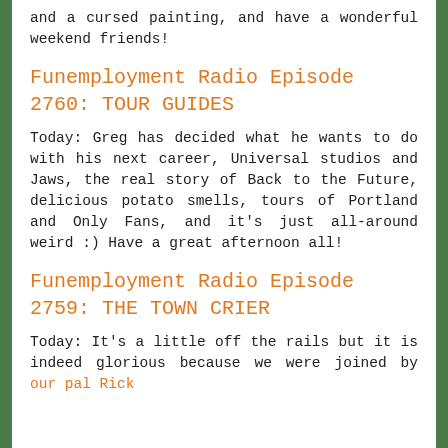and a cursed painting, and have a wonderful weekend friends!
Funemployment Radio Episode 2760: TOUR GUIDES
Today: Greg has decided what he wants to do with his next career, Universal studios and Jaws, the real story of Back to the Future, delicious potato smells, tours of Portland and Only Fans, and it's just all-around weird :) Have a great afternoon all!
Funemployment Radio Episode 2759: THE TOWN CRIER
Today: It's a little off the rails but it is indeed glorious because we were joined by our pal Rick